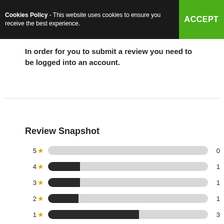Cookies Policy - This website uses cookies to ensure you receive the best experience. ACCEPT
In order for you to submit a review you need to be logged into an account.
Review Snapshot
[Figure (bar-chart): Review Snapshot]